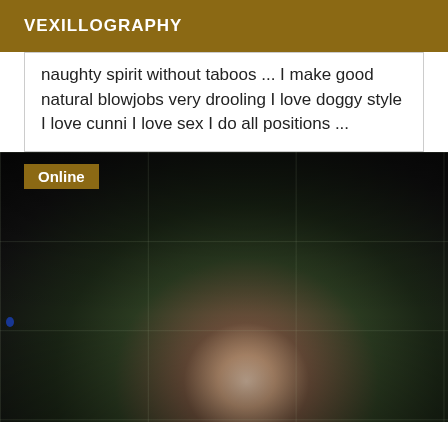VEXILLOGRAPHY
naughty spirit without taboos ... I make good natural blowjobs very drooling I love doggy style I love cunni I love sex I do all positions ...
[Figure (photo): Dark blurry photo with Online badge in top left corner, dark background with faint grid pattern and a blurry light-colored round shape visible at bottom center.]